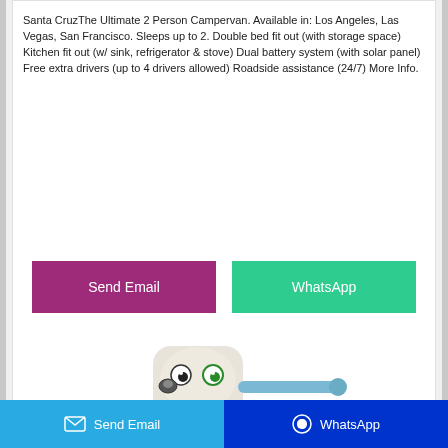Santa CruzThe Ultimate 2 Person Campervan. Available in: Los Angeles, Las Vegas, San Francisco. Sleeps up to 2. Double bed fit out (with storage space) Kitchen fit out (w/ sink, refrigerator & stove) Dual battery system (with solar panel) Free extra drivers (up to 4 drivers allowed) Roadside assistance (24/7) More Info.
[Figure (illustration): Two buttons side by side: a purple/magenta 'Send Email' button and a green 'WhatsApp' button]
[Figure (photo): A cartoon toy figurine resembling a white robot/character with googly eyes, a small beak/nose, and a blue base/seat, with a blue cylindrical handle extending to the right]
Send Email   WhatsApp